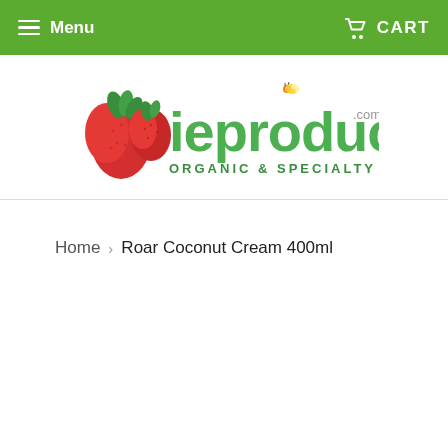Menu | CART
[Figure (logo): ieproduce.com Organic & Specialty Foods logo with strawberries and bee]
Home › Roar Coconut Cream 400ml